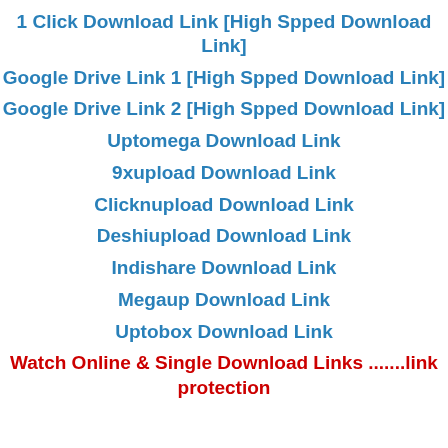1 Click Download Link [High Spped Download Link]
Google Drive Link 1 [High Spped Download Link]
Google Drive Link 2 [High Spped Download Link]
Uptomega Download Link
9xupload Download Link
Clicknupload Download Link
Deshiupload Download Link
Indishare Download Link
Megaup Download Link
Uptobox Download Link
Watch Online & Single Download Links .......link protection